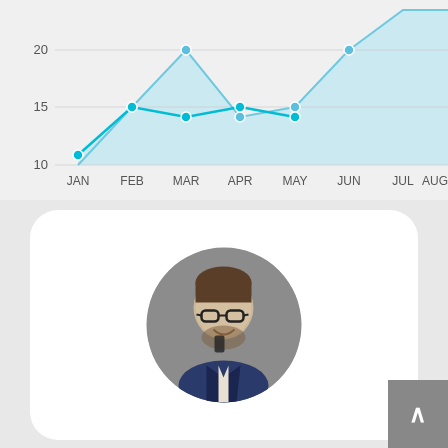[Figure (line-chart): ]
[Figure (photo): Circular profile photo of a young man with glasses talking on a phone, smiling, wearing a dark shirt]